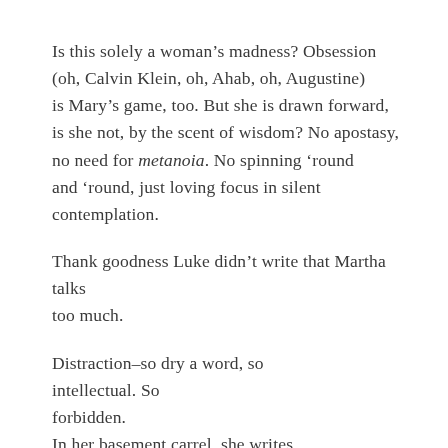Is this solely a woman's madness? Obsession
(oh, Calvin Klein, oh, Ahab, oh, Augustine)
is Mary's game, too. But she is drawn forward,
is she not, by the scent of wisdom? No apostasy,
no need for metanoia. No spinning 'round
and 'round, just loving focus in silent contemplation.
Thank goodness Luke didn't write that Martha talks
too much.
Distraction–so dry a word, so
intellectual. So
forbidden.
In her basement carrel, she writes.
Service to others
beckons